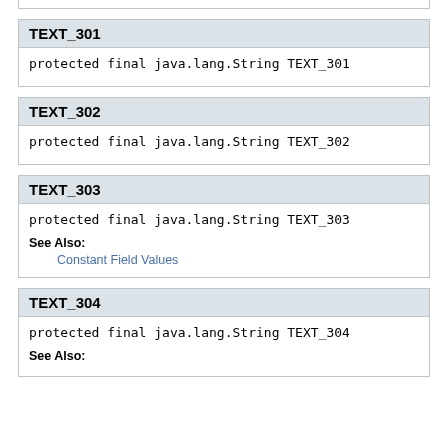TEXT_301
protected final java.lang.String TEXT_301
TEXT_302
protected final java.lang.String TEXT_302
TEXT_303
protected final java.lang.String TEXT_303
See Also:
Constant Field Values
TEXT_304
protected final java.lang.String TEXT_304
See Also: